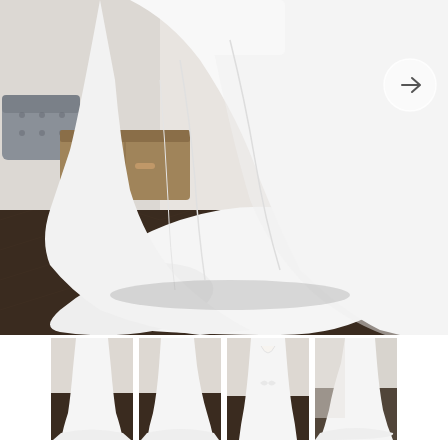[Figure (photo): Large main photo of a white ballgown wedding dress from behind/side, showing an elaborate train spread across a dark herringbone wood floor in a bright elegant room with marble wall panel and gold side table. A navigation arrow button is overlaid on the top right.]
[Figure (photo): Thumbnail 1: Front view of white off-the-shoulder ballgown wedding dress on a model in a bright studio setting.]
[Figure (photo): Thumbnail 2: Three-quarter front view of the same white off-the-shoulder ballgown wedding dress on a model.]
[Figure (photo): Thumbnail 3: Back view of the wedding dress showing a low-cut back with bow detail and long train.]
[Figure (photo): Thumbnail 4: Side/back view of the white ballgown wedding dress with train on the floor in a bright room.]